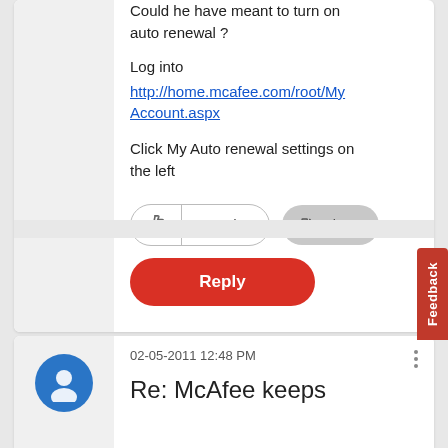Could he have meant to turn on auto renewal ?
Log into
http://home.mcafee.com/root/MyAccount.aspx
Click My Auto renewal settings on the left
[Figure (screenshot): Kudos button showing 0 Kudos and Share button]
[Figure (screenshot): Red Reply button]
02-05-2011 12:48 PM
Re: McAfee keeps